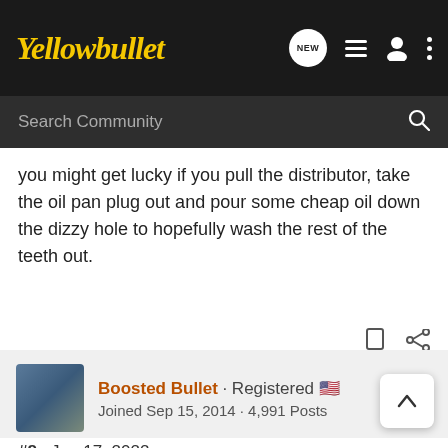Yellowbullet
you might get lucky if you pull the distributor, take the oil pan plug out and pour some cheap oil down the dizzy hole to hopefully wash the rest of the teeth out.
Boosted Bullet · Registered
Joined Sep 15, 2014 · 4,991 Posts
#8 · Jun 17, 2022
I'm usually working alone and have the balancer where I want it...